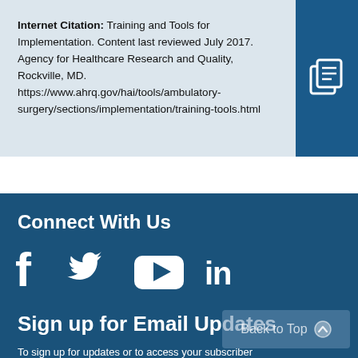Internet Citation: Training and Tools for Implementation. Content last reviewed July 2017. Agency for Healthcare Research and Quality, Rockville, MD. https://www.ahrq.gov/hai/tools/ambulatory-surgery/sections/implementation/training-tools.html
Connect With Us
[Figure (infographic): Social media icons: Facebook, Twitter, YouTube, LinkedIn in white on dark blue background]
Sign up for Email Updates
To sign up for updates or to access your subscriber